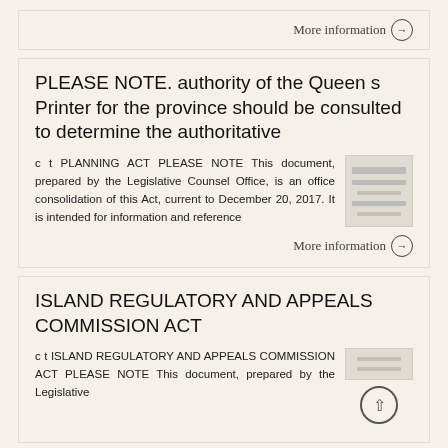More information →
PLEASE NOTE. authority of the Queen s Printer for the province should be consulted to determine the authoritative
c t PLANNING ACT PLEASE NOTE This document, prepared by the Legislative Counsel Office, is an office consolidation of this Act, current to December 20, 2017. It is intended for information and reference
More information →
ISLAND REGULATORY AND APPEALS COMMISSION ACT
c t ISLAND REGULATORY AND APPEALS COMMISSION ACT PLEASE NOTE This document, prepared by the Legislative